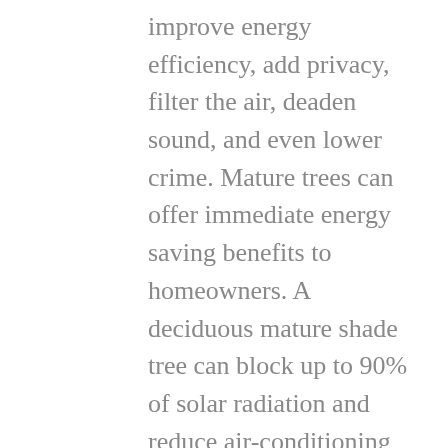improve energy efficiency, add privacy, filter the air, deaden sound, and even lower crime. Mature trees can offer immediate energy saving benefits to homeowners. A deciduous mature shade tree can block up to 90% of solar radiation and reduce air-conditioning needs by 75%. These trees are best planted on the south side of a building where the sun's rays are most intense. During the winter months, a leafless deciduous tree will permit passive solar heating. Planting evergreen trees to the north and north-west of your house can provide insulation and protection from wind during winter months.
Trees also absorb pollutants, and intercept particulate matter, like dust ash and